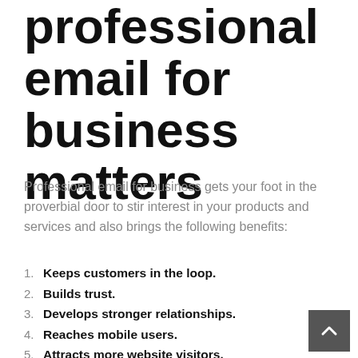professional email for business matters
Professional email for business gets your foot in the proverbial door to stir interest in your products and services and also brings the following benefits:
Keeps customers in the loop.
Builds trust.
Develops stronger relationships.
Reaches mobile users.
Attracts more website visitors.
Saves considerable time.
Provides a consistent form of communication